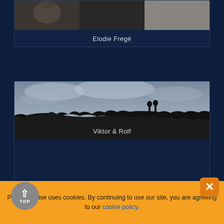[Figure (photo): Partial photo strip of Elodie Fregé at top of page, showing portions of performance or portrait images]
Elodie Fregé
[Figure (photo): Panoramic dark silhouette photo for Viktor & Rolf, showing two figures silhouetted against a cloudy sky on a ridge]
Viktor & Rolf
P[TOP button overlaps]on Paradise uses cookies. By continuing to use our site, you are agreeing to our cookie policy.